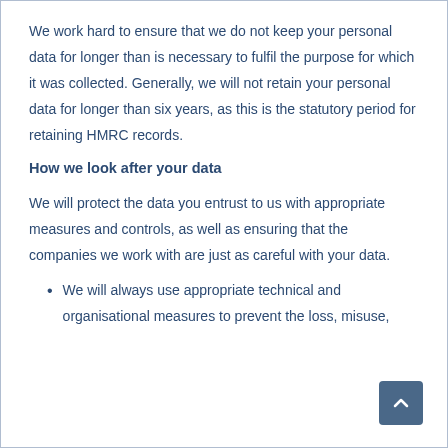We work hard to ensure that we do not keep your personal data for longer than is necessary to fulfil the purpose for which it was collected. Generally, we will not retain your personal data for longer than six years, as this is the statutory period for retaining HMRC records.
How we look after your data
We will protect the data you entrust to us with appropriate measures and controls, as well as ensuring that the companies we work with are just as careful with your data.
We will always use appropriate technical and organisational measures to prevent the loss, misuse,